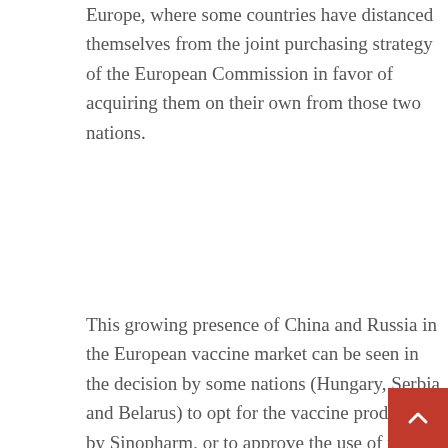Europe, where some countries have distanced themselves from the joint purchasing strategy of the European Commission in favor of acquiring them on their own from those two nations.
This growing presence of China and Russia in the European vaccine market can be seen in the decision by some nations (Hungary, Serbia and Belarus) to opt for the vaccine produced by Sinopharm, or to approve the use of the Sputnik V vaccine (as is the case with Macedonia, Slovakia, the Czech Republic, Bosnia Herzegovina and Hungary). Recently, the Italian-Swiss pharmaceutical Adienne Pharma & Biotech the Russian Direct Investment Fund, which holds the patent, signed an